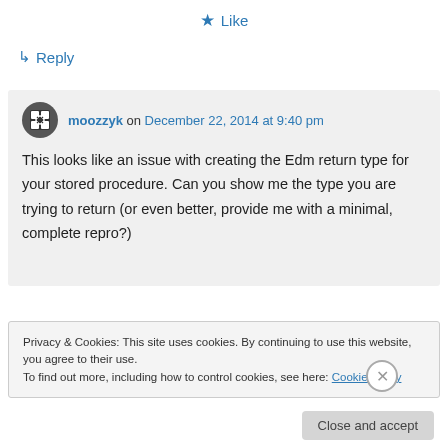★ Like
↳ Reply
moozzyk on December 22, 2014 at 9:40 pm
This looks like an issue with creating the Edm return type for your stored procedure. Can you show me the type you are trying to return (or even better, provide me with a minimal, complete repro?)
Privacy & Cookies: This site uses cookies. By continuing to use this website, you agree to their use. To find out more, including how to control cookies, see here: Cookie Policy
Close and accept